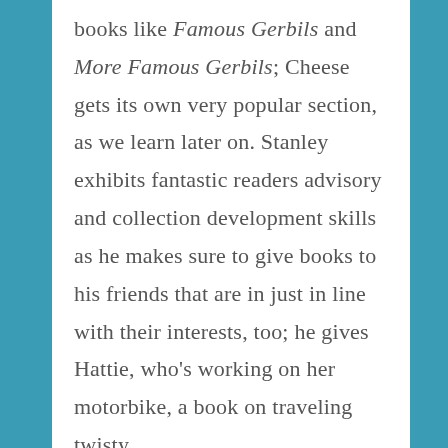books like Famous Gerbils and More Famous Gerbils; Cheese gets its own very popular section, as we learn later on. Stanley exhibits fantastic readers advisory and collection development skills as he makes sure to give books to his friends that are in just in line with their interests, too; he gives Hattie, who's working on her motorbike, a book on traveling twisty